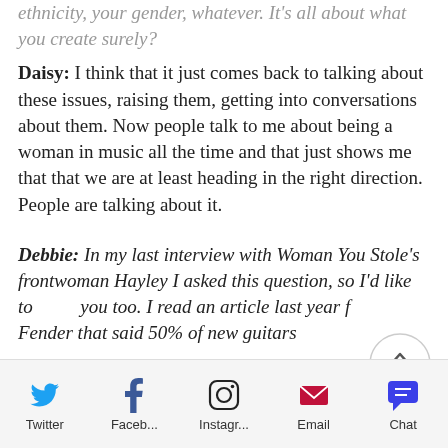...and nothing more. Not your age, your ethnicity, your gender, whatever. It's all about what you create surely?
Daisy: I think that it just comes back to talking about these issues, raising them, getting into conversations about them. Now people talk to me about being a woman in music all the time and that just shows me that that we are at least heading in the right direction. People are talking about it.
Debbie: In my last interview with Woman You Stole's frontwoman Hayley I asked this question, so I'd like to you too. I read an article last year from Fender that said 50% of new guitars
Twitter  Faceb...  Instagr...  Email  Chat